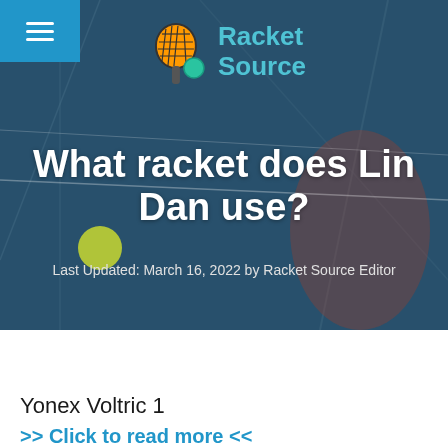[Figure (screenshot): Hero banner image of a tennis court with a player hitting a shot, overlaid with Racket Source logo (tennis racket icon with orange frame and teal ball), site title 'Racket Source', article headline 'What racket does Lin Dan use?', and meta text 'Last Updated: March 16, 2022 by Racket Source Editor']
What racket does Lin Dan use?
Last Updated: March 16, 2022 by Racket Source Editor
Yonex Voltric 1
>> Click to read more <<